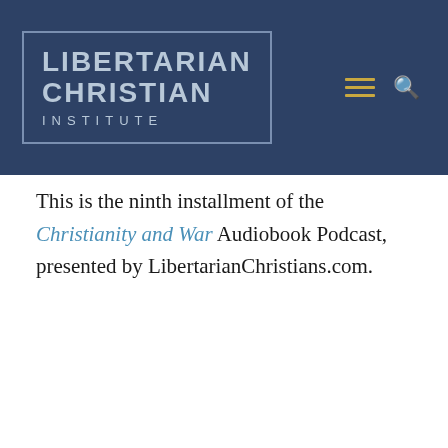[Figure (logo): Libertarian Christian Institute logo: white/grey text on dark navy blue background with border. Text reads LIBERTARIAN CHRISTIAN INSTITUTE. Navigation icons (hamburger menu in gold, search icon) on the right.]
This is the ninth installment of the Christianity and War Audiobook Podcast, presented by LibertarianChristians.com.